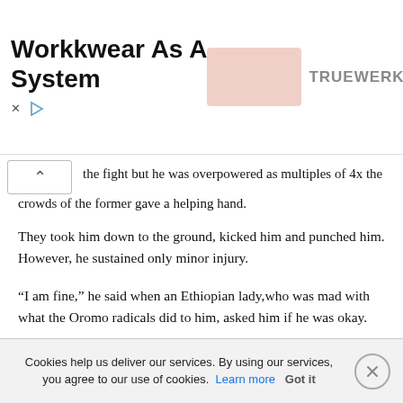[Figure (other): Advertisement banner for Truewerk workwear. Shows text 'Workwear As A System' in bold, a pinkish rectangular image placeholder, and the brand name TRUEWERK in gray. Controls include an X and a play button triangle.]
the fight but he was overpowered as multiples of 4x the crowds of the former gave a helping hand.
They took him down to the ground, kicked him and punched him. However, he sustained only minor injury.
“I am fine,” he said when an Ethiopian lady,who was mad with what the Oromo radicals did to him, asked him if he was okay.
The victim seems to be a teenager or in his early 20’s.
Emerging reports in social media indicates that Seattle Police have made arrests in connection with the incident.
Cookies help us deliver our services. By using our services, you agree to our use of cookies. Learn more  Got it